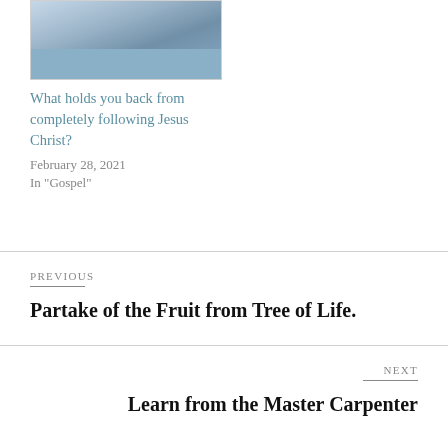[Figure (photo): Painting of Jesus Christ near a boat and water with figures]
What holds you back from completely following Jesus Christ?
February 28, 2021
In "Gospel"
PREVIOUS
Partake of the Fruit from Tree of Life.
NEXT
Learn from the Master Carpenter